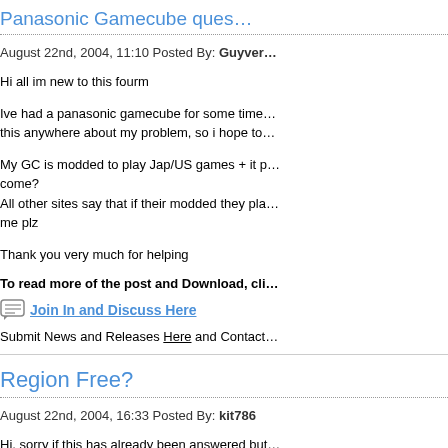Panasonic Gamecube ques…
August 22nd, 2004, 11:10 Posted By: Guyver…
Hi all im new to this fourm
Ive had a panasonic gamecube for some time… this anywhere about my problem, so i hope to…
My GC is modded to play Jap/US games + it p… come?
All other sites say that if their modded they pla… me plz
Thank you very much for helping
To read more of the post and Download, cli…
Join In and Discuss Here
Submit News and Releases Here and Contact…
Region Free?
August 22nd, 2004, 16:33 Posted By: kit786
Hi, sorry if this has already been answered but… usa, europe on all system), like previous Ninte…